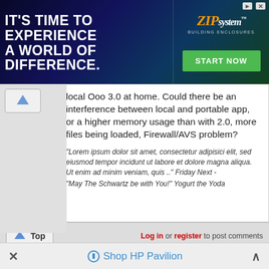[Figure (screenshot): Advertisement banner: IT'S TIME TO EXPERIENCE A WORLD OF DIFFERENCE. ZIP system BUILDING ENCLOSURES START NOW]
local Ooo 3.0 at home. Could there be an interference between local and portable app, or a higher memory usage than with 2.0, more files being loaded, Firewall/AVS problem?
"Lorem ipsum dolor sit amet, consectetur adipisici elit, sed eiusmod tempor incidunt ut labore et dolore magna aliqua. Ut enim ad minim veniam, quis .." Friday Next -
"May The Schwartz be with You!" Yogurt the Yoda
Log in or register to post comments
October 27, 2008 - 5:16am  (Reply to #11)  #12
MarkoMLM
Imagepacks are removed in the portable since Beta?
Shop HP Pavilion